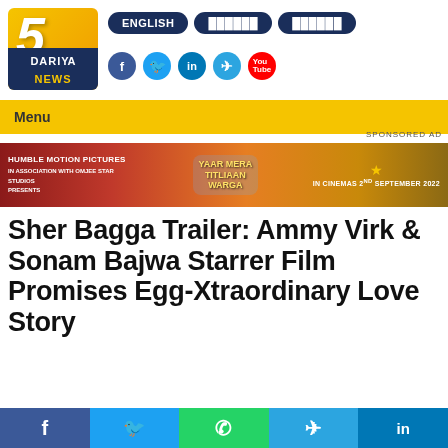[Figure (logo): 5 Dariya News logo - orange/yellow background with large white italic '5' and dark blue bar at bottom with 'DARIYA NEWS' text]
ENGLISH | ██████ | ██████
[Figure (infographic): Social media icons: Facebook (blue circle), Twitter (cyan circle), LinkedIn (blue circle), Telegram (light blue circle), YouTube (red circle)]
Menu
SPONSORED AD
[Figure (photo): Advertisement banner for 'Humble Motion Pictures in association with Omjee Star Studios presents' - Yaar Mera Titliaan Warga - IN CINEMAS 2ND SEPTEMBER 2022]
Sher Bagga Trailer: Ammy Virk & Sonam Bajwa Starrer Film Promises Egg-Xtraordinary Love Story
Social share bar with Facebook, Twitter, WhatsApp, Telegram, LinkedIn buttons